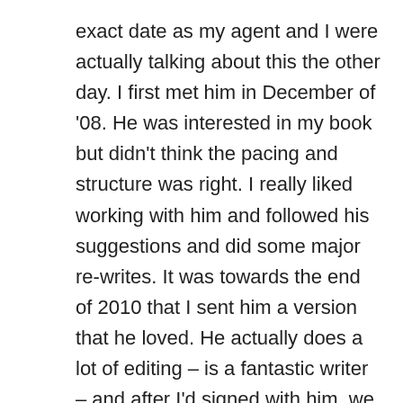exact date as my agent and I were actually talking about this the other day. I first met him in December of '08. He was interested in my book but didn't think the pacing and structure was right. I really liked working with him and followed his suggestions and did some major re-writes. It was towards the end of 2010 that I sent him a version that he loved. He actually does a lot of editing – is a fantastic writer – and after I'd signed with him, we worked on the manuscript for another ten months. He sent it out to 16 publishers in November 2011 and in January 2012 we heard that one publisher loved the book. But then it went quiet as they were taking on fewer new authors than before. They were recently acquired by a large firm and the editor